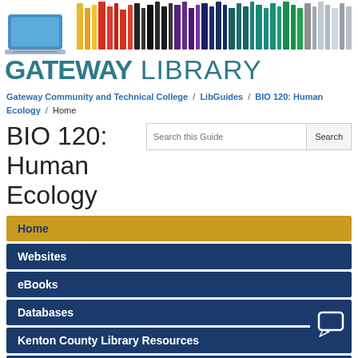[Figure (logo): Gateway Library logo with colorful books bar and laptop icon above the text GATEWAY LIBRARY]
Gateway Community and Technical College / LibGuides / BIO 120: Human Ecology / Home
BIO 120: Human Ecology
Home
Websites
eBooks
Databases
Kenton County Library Resources
Assignment Calculator